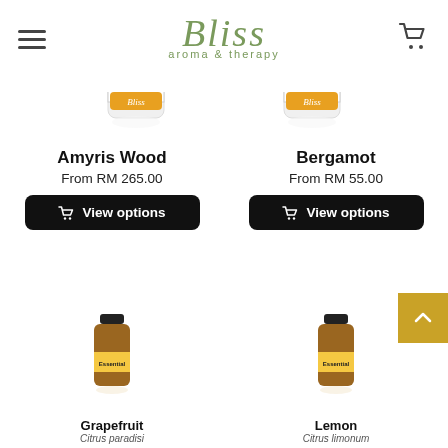Bliss aroma & therapy
[Figure (photo): Bliss 12ml white bottle product left]
[Figure (photo): Bliss 12ml white bottle product right]
Amyris Wood
From RM 265.00
View options
Bergamot
From RM 55.00
View options
[Figure (photo): Grapefruit essential oil small amber bottle]
Grapefruit
Citrus paradisi
[Figure (photo): Lemon essential oil small amber bottle]
Lemon
Citrus limonum